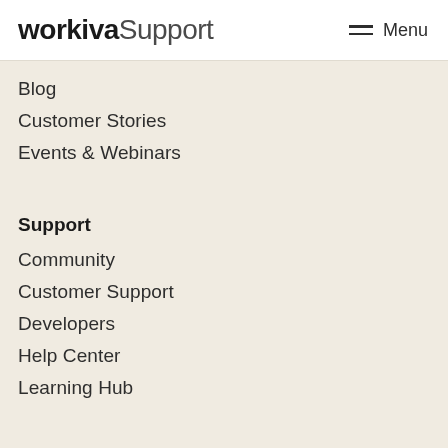workiva Support  Menu
Blog
Customer Stories
Events & Webinars
Support
Community
Customer Support
Developers
Help Center
Learning Hub
COMPANY
About
Contact